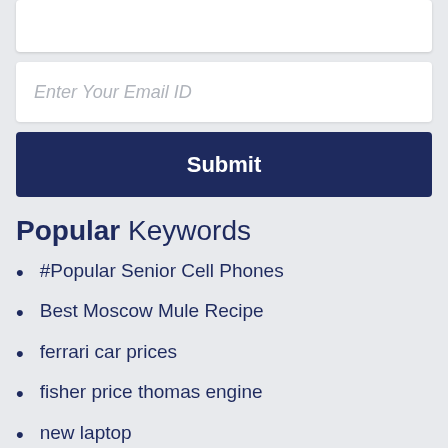Enter Your Email ID
Submit
Popular Keywords
#Popular Senior Cell Phones
Best Moscow Mule Recipe
ferrari car prices
fisher price thomas engine
new laptop
No Contract Cellphone Plans